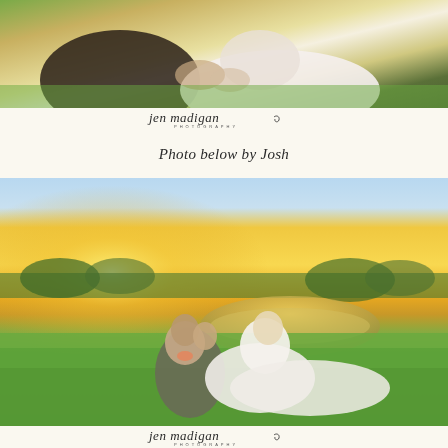[Figure (photo): Close-up wedding photo of a bride in white dress and groom in dark suit sitting together on green grass, hands visible, intimate pose.]
[Figure (logo): Jen Madigan Photography logo with cursive text and small photography subtitle.]
Photo below by Josh
[Figure (photo): Outdoor sunset wedding photo of bride and groom sitting on green grass in front of a pond. Golden hour light with warm glow. Groom wearing grey vest and coral bow tie, bride in white wedding gown. Trees visible in background.]
[Figure (logo): Jen Madigan Photography logo with cursive text and small photography subtitle.]